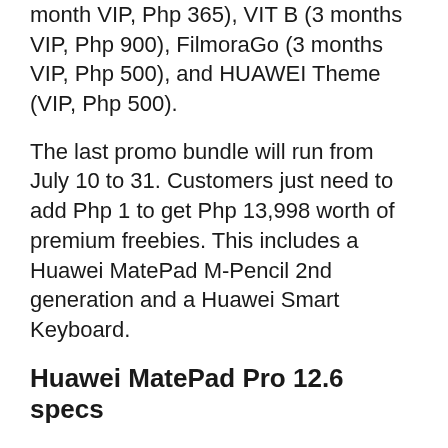month VIP, Php 365), VIT B (3 months VIP, Php 900), FilmoraGo (3 months VIP, Php 500), and HUAWEI Theme (VIP, Php 500).
The last promo bundle will run from July 10 to 31. Customers just need to add Php 1 to get Php 13,998 worth of premium freebies. This includes a Huawei MatePad M-Pencil 2nd generation and a Huawei Smart Keyboard.
Huawei MatePad Pro 12.6 specs
Display: 12.6-inch WQXGA OLED Display, 2560 x 1600, 90% Screen-to-body Ratio
Processor: Huawei Kirin 9000E